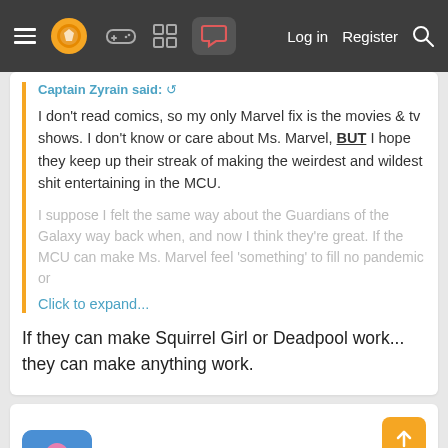Navigation bar with menu, logo, gaming, grid, chat icons, Log in, Register, Search
Captain Zyrain said: ↺
I don't read comics, so my only Marvel fix is the movies & tv shows. I don't know or care about Ms. Marvel, BUT I hope they keep up their streak of making the weirdest and wildest shit entertaining in the MCU.
I suppose I felt the same way about the Guardians of the Galaxy way back when, and now I think they're great. If the MCU can make Ms. Marvel feel 'something' to fill no pandemic or Click to expand...
If they can make Squirrel Girl or Deadpool work... they can make anything work.
AJUMP23
Gold Member
Oct 28, 2021  #39